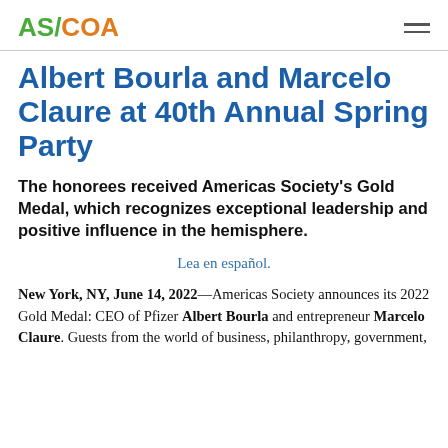AS/COA
Albert Bourla and Marcelo Claure at 40th Annual Spring Party
The honorees received Americas Society's Gold Medal, which recognizes exceptional leadership and positive influence in the hemisphere.
Lea en español.
New York, NY, June 14, 2022—Americas Society announces its 2022 Gold Medal: CEO of Pfizer Albert Bourla and entrepreneur Marcelo Claure. Guests from the world of business, philanthropy, government,